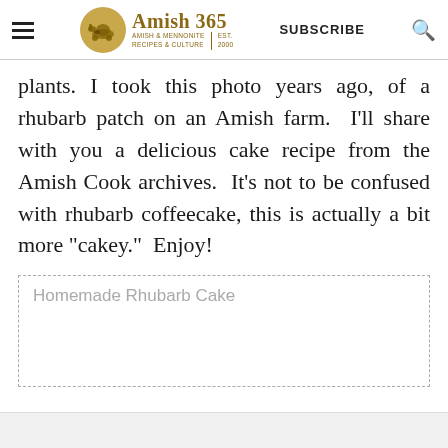Amish 365 | AMISH & MENNONITE RECIPES & CULTURE | EST. 2000 | SUBSCRIBE
plants. I took this photo years ago, of a rhubarb patch on an Amish farm.  I'll share with you a delicious cake recipe from the Amish Cook archives.  It's not to be confused with rhubarb coffeecake, this is actually a bit more "cakey."  Enjoy!
Homemade Rhubarb Cake